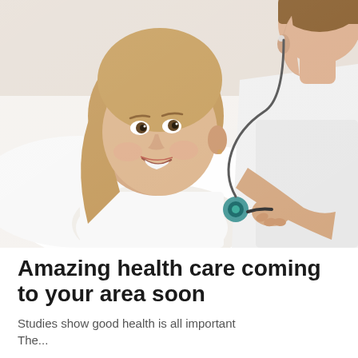[Figure (photo): A young smiling girl lying in bed wearing a white tank top, looking up at a healthcare professional (nurse or doctor) who is holding a stethoscope to the girl's chest. The healthcare professional has short brown hair and is wearing a white uniform. The scene suggests a medical examination in a calm, reassuring setting.]
Amazing health care coming to your area soon
Studies show good health is all important The...